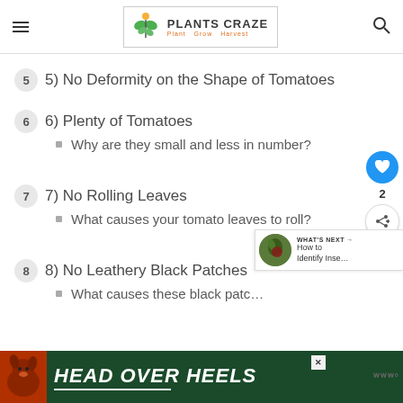PLANTS CRAZE — Plant Grow Harvest
5) No Deformity on the Shape of Tomatoes
6) Plenty of Tomatoes
Why are they small and less in number?
7) No Rolling Leaves
What causes your tomato leaves to roll?
8) No Leathery Black Patches
What causes these black patc…